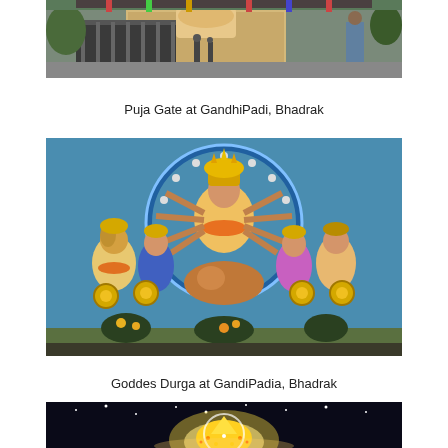[Figure (photo): Puja Gate at GandhiPadi, Bhadrak - outdoor photograph showing a decorated festival gate with fence, building in background, people, and a security guard on the right]
Puja Gate at GandhiPadi, Bhadrak
[Figure (photo): Goddess Durga idol at GandiPadia, Bhadrak - colorful deity idol with multiple arms surrounded by other decorated figures against a blue mosaic background]
Goddes Durga at GandiPadia, Bhadrak
[Figure (photo): Nighttime illuminated decorated pandal or structure at Bhadrak, partially visible at bottom of page]